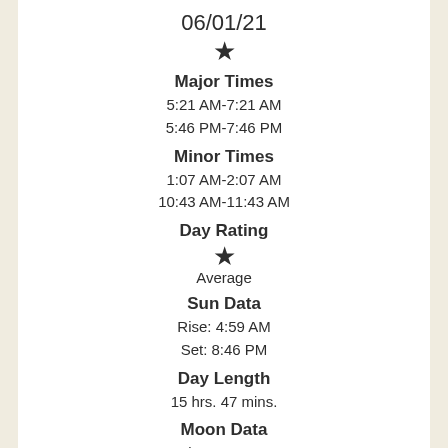06/01/21
Major Times
5:21 AM-7:21 AM
5:46 PM-7:46 PM
Minor Times
1:07 AM-2:07 AM
10:43 AM-11:43 AM
Day Rating
★
Average
Sun Data
Rise: 4:59 AM
Set: 8:46 PM
Day Length
15 hrs. 47 mins.
Moon Data
Rise: 1:37 AM
Set: 11:13 AM